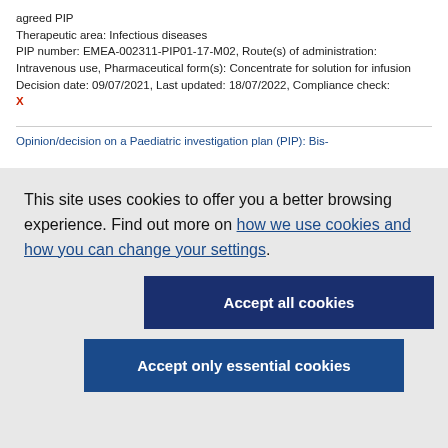agreed PIP
Therapeutic area: Infectious diseases
PIP number: EMEA-002311-PIP01-17-M02, Route(s) of administration: Intravenous use, Pharmaceutical form(s): Concentrate for solution for infusion
Decision date: 09/07/2021, Last updated: 18/07/2022, Compliance check: X
Opinion/decision on a Paediatric investigation plan (PIP): Bis-
This site uses cookies to offer you a better browsing experience. Find out more on how we use cookies and how you can change your settings.
Accept all cookies
Accept only essential cookies